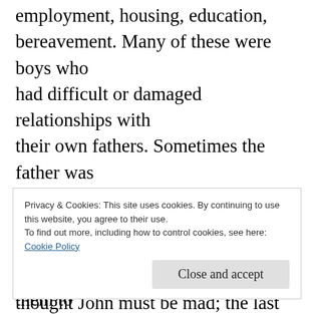employment, housing, education, bereavement. Many of these were boys who had difficult or damaged relationships with their own fathers. Sometimes the father was dead or absent. Whatever the circumstances, they all craved a male role model. At first I thought John must be mad; the last thing I wanted was to spend time with other people’s sons when I had been deprived of my own. But he is wise and realised that all my life I have
Privacy & Cookies: This site uses cookies. By continuing to use this website, you agree to their use.
To find out more, including how to control cookies, see here:
Cookie Policy
Close and accept
problems, and on trying to encourage them to